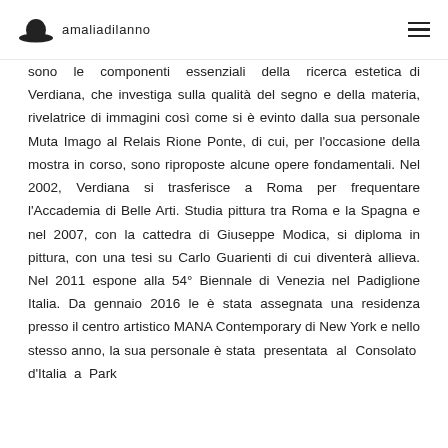amaliadilanno
sono le componenti essenziali della ricerca estetica di Verdiana, che investiga sulla qualità del segno e della materia, rivelatrice di immagini così come si è evinto dalla sua personale Muta Imago al Relais Rione Ponte, di cui, per l'occasione della mostra in corso, sono riproposte alcune opere fondamentali. Nel 2002, Verdiana si trasferisce a Roma per frequentare l'Accademia di Belle Arti. Studia pittura tra Roma e la Spagna e nel 2007, con la cattedra di Giuseppe Modica, si diploma in pittura, con una tesi su Carlo Guarienti di cui diventerà allieva. Nel 2011 espone alla 54° Biennale di Venezia nel Padiglione Italia. Da gennaio 2016 le è stata assegnata una residenza presso il centro artistico MANA Contemporary di New York e nello stesso anno, la sua personale è stata presentata al Consolato d'Italia a Park